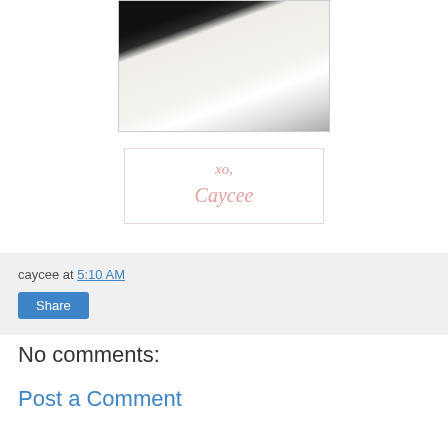[Figure (photo): Partial photo showing a dark frame/background with white fluffy fabric, cropped at top of page]
[Figure (other): Signature box with pink italic cursive text reading 'xo,' on first line and 'Caycee' on second line, in a white box with light pink border]
caycee at 5:10 AM
Share
No comments:
Post a Comment